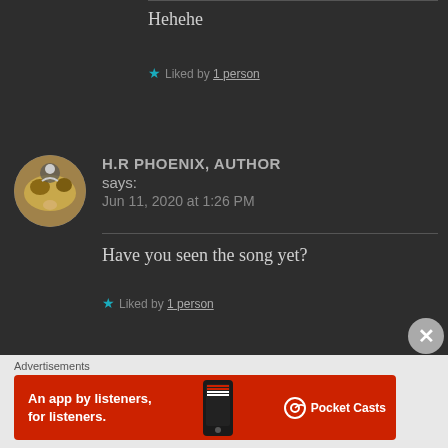Hehehe
★ Liked by 1 person
[Figure (photo): Circular avatar photo showing a cat paw being held by a human hand, with a small person icon overlay in top-left]
H.R PHOENIX, AUTHOR says:
Jun 11, 2020 at 1:26 PM
Have you seen the song yet?
★ Liked by 1 person
Advertisements
[Figure (infographic): Red advertisement banner for Pocket Casts: 'An app by listeners, for listeners.' with phone image and Pocket Casts logo]